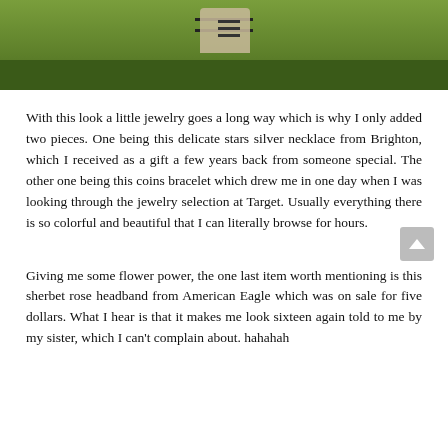[Figure (photo): Outdoor photo showing a person's legs/feet on green grass, with a hamburger menu icon overlay visible]
With this look a little jewelry goes a long way which is why I only added two pieces. One being this delicate stars silver necklace from Brighton, which I received as a gift a few years back from someone special. The other one being this coins bracelet which drew me in one day when I was looking through the jewelry selection at Target. Usually everything there is so colorful and beautiful that I can literally browse for hours.
Giving me some flower power, the one last item worth mentioning is this sherbet rose headband from American Eagle which was on sale for five dollars. What I hear is that it makes me look sixteen again told to me by my sister, which I can't complain about. hahahah